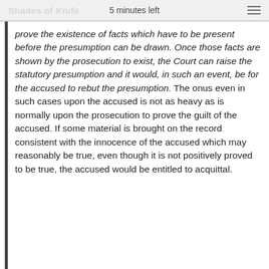Shades of Knife   5 minutes left
prove the existence of facts which have to be present before the presumption can be drawn. Once those facts are shown by the prosecution to exist, the Court can raise the statutory presumption and it would, in such an event, be for the accused to rebut the presumption. The onus even in such cases upon the accused is not as heavy as is normally upon the prosecution to prove the guilt of the accused. If some material is brought on the record consistent with the innocence of the accused which may reasonably be true, even though it is not positively proved to be true, the accused would be entitled to acquittal.